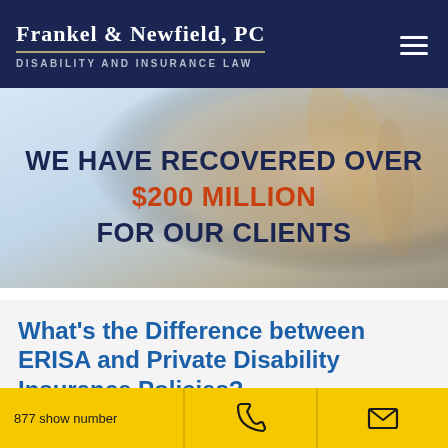Frankel & Newfield, PC — Disability and Insurance Law
[Figure (photo): Hero banner with background image of a hand (close-up, soft focus), overlaid with bold uppercase text: WE HAVE RECOVERED OVER $200 MILLION FOR OUR CLIENTS]
What's the Difference between ERISA and Private Disability Insurance Policies?
877 show number | phone icon | email icon